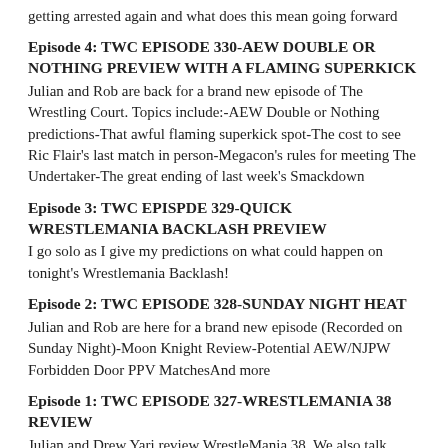getting arrested again and what does this mean going forward
Episode 4: TWC EPISODE 330-AEW DOUBLE OR NOTHING PREVIEW WITH A FLAMING SUPERKICK
Julian and Rob are back for a brand new episode of The Wrestling Court. Topics include:-AEW Double or Nothing predictions-That awful flaming superkick spot-The cost to see Ric Flair's last match in person-Megacon's rules for meeting The Undertaker-The great ending of last week's Smackdown
Episode 3: TWC EPISPDE 329-QUICK WRESTLEMANIA BACKLASH PREVIEW
I go solo as I give my predictions on what could happen on tonight's Wrestlemania Backlash!
Episode 2: TWC EPISODE 328-SUNDAY NIGHT HEAT
Julian and Rob are here for a brand new episode (Recorded on Sunday Night)-Moon Knight Review-Potential AEW/NJPW Forbidden Door PPV MatchesAnd more
Episode 1: TWC EPISODE 327-WRESTLEMANIA 38 REVIEW
Julian and Drew Yari review WrestleMania 38. We also talk about Sunny's arrest, Moonknight, and Tony Khan's recent commenys
Episode 41: TWC 326-WRESTLEMANIA 38 PREDICTIONS